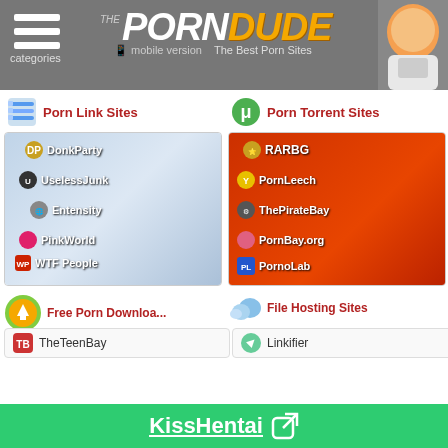The Porn Dude - The Best Porn Sites | categories | mobile version
Porn Link Sites
[Figure (screenshot): Porn Link Sites image with overlaid site names: DonkParty, UselessJunk, Entensity, PinkWorld, WTF People]
Porn Torrent Sites
[Figure (screenshot): Porn Torrent Sites image with pirate theme, overlaid site names: RARBG, PornLeech, ThePirateBay, PornBay.org, PornoLab]
Free Porn Downloa...
TheTeenBay
File Hosting Sites
Linkifier
KissHentai